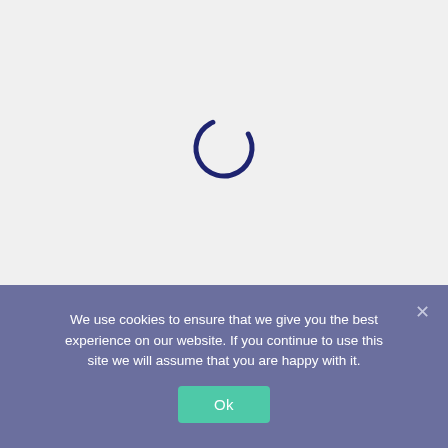[Figure (other): Loading spinner — a partial dark navy blue arc (approximately 270 degrees) centered in a light gray background, indicating a loading/busy state.]
We use cookies to ensure that we give you the best experience on our website. If you continue to use this site we will assume that you are happy with it.